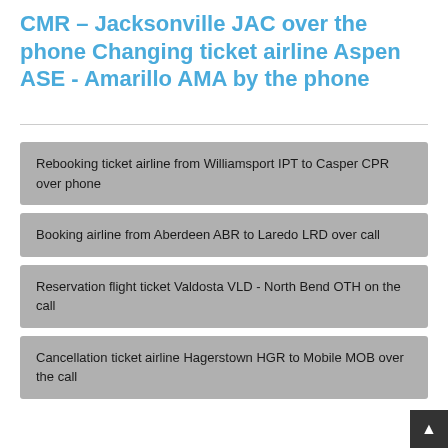CMR – Jacksonville JAC over the phone Changing ticket airline Aspen ASE - Amarillo AMA by the phone
Rebooking ticket airline from Williamsport IPT to Casper CPR over phone
Booking airline from Aberdeen ABR to Laredo LRD over call
Reservation flight ticket Valdosta VLD - North Bend OTH on the call
Cancellation ticket airline Hagerstown HGR to Mobile MOB over the call